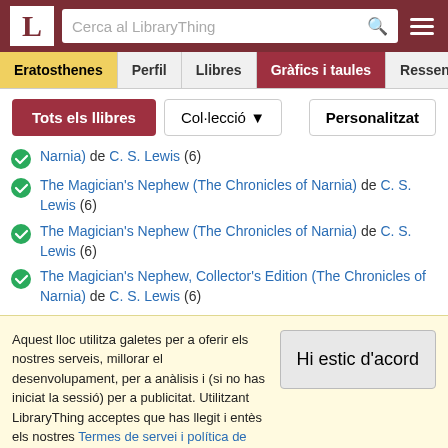LibraryThing - Cerca al LibraryThing
Eratosthenes | Perfil | Llibres | Gràfics i taules | Ressenyes
Tots els llibres | Col·lecció ▼ | Personalitzat
Narnia) de C. S. Lewis (6)
The Magician's Nephew (The Chronicles of Narnia) de C. S. Lewis (6)
The Magician's Nephew (The Chronicles of Narnia) de C. S. Lewis (6)
The Magician's Nephew, Collector's Edition (The Chronicles of Narnia) de C. S. Lewis (6)
Aquest lloc utilitza galetes per a oferir els nostres serveis, millorar el desenvolupament, per a anàlisis i (si no has iniciat la sessió) per a publicitat. Utilitzant LibraryThing acceptes que has llegit i entès els nostres Termes de servei i política de privacitat. L'ús que facis del lloc i dels seus serveis està subjecte a aquestes polítiques i termes.